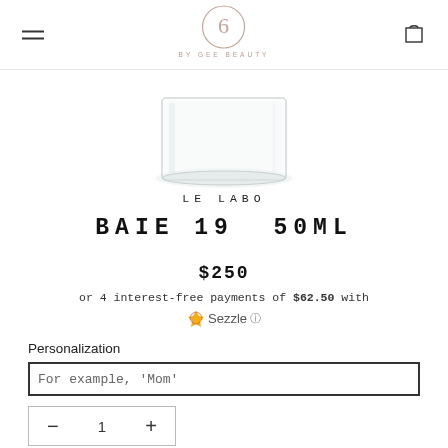[Figure (logo): 6 by Gee Beauty logo — circle with numeral 6 in rose color, text BY GEE BEAUTY below]
[Figure (photo): Bottom portion of a clear glass fragrance bottle on white background]
LE LABO
BAIE 19  50ML
$250
or 4 interest-free payments of $62.50 with Sezzle ℹ
Personalization
For example, 'Mom'
— 1 +